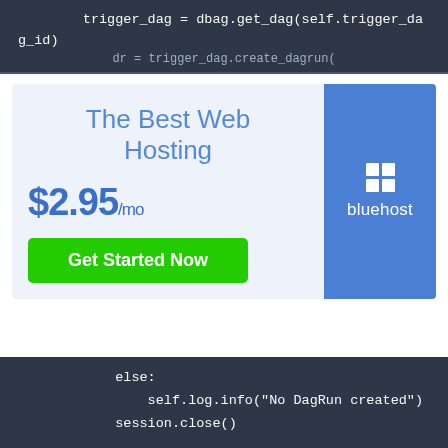trigger_dag = dbag.get_dag(self.trigger_dag_id)
    dr = trigger_dag.create_dagrun(
[Figure (infographic): Bluehost web hosting advertisement banner. Left side has light blue-gray background with text 'The Best Web Hosting', price '$2.95/mo', and green 'Get Started Now' button. Right side has blue background with Bluehost logo (grid icon and text).]
else:
        self.log.info("No DagRun created")
    session.close()